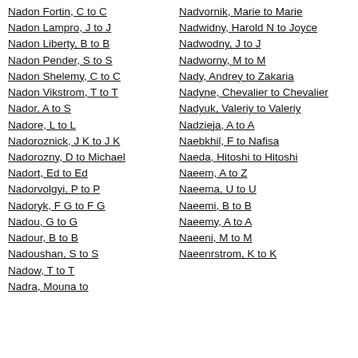Nadon Fortin, C to C
Nadon Lampro, J to J
Nadon Liberty, B to B
Nadon Pender, S to S
Nadon Shelemy, C to C
Nadon Vikstrom, T to T
Nador, A to S
Nadore, L to L
Nadoroznick, J K to J K
Nadorozny, D to Michael
Nadort, Ed to Ed
Nadorvolgyi, P to P
Nadoryk, F G to F G
Nadou, G to G
Nadour, B to B
Nadoushan, S to S
Nadow, T to T
Nadra, Mouna to
Nadvornik, Marie to Marie
Nadwidny, Harold N to Joyce
Nadwodny, J to J
Nadworny, M to M
Nady, Andrey to Zakaria
Nadyne, Chevalier to Chevalier
Nadyuk, Valeriy to Valeriy
Nadzieja, A to A
Naebkhil, F to Nafisa
Naeda, Hitoshi to Hitoshi
Naeem, A to Z
Naeema, U to U
Naeemi, B to B
Naeemy, A to A
Naeeni, M to M
Naeenrstrom, K to K